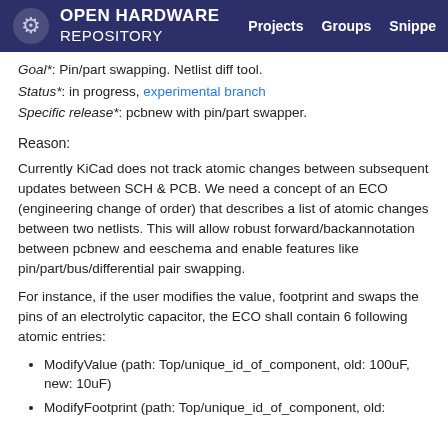OPEN HARDWARE REPOSITORY — Projects   Groups   Snippe
Goal*: Pin/part swapping. Netlist diff tool.
Status*: in progress, experimental branch
Specific release*: pcbnew with pin/part swapper.
Reason:
Currently KiCad does not track atomic changes between subsequent updates between SCH & PCB. We need a concept of an ECO (engineering change of order) that describes a list of atomic changes between two netlists. This will allow robust forward/backannotation between pcbnew and eeschema and enable features like pin/part/bus/differential pair swapping.
For instance, if the user modifies the value, footprint and swaps the pins of an electrolytic capacitor, the ECO shall contain 6 following atomic entries:
ModifyValue (path: Top/unique_id_of_component, old: 100uF, new: 10uF)
ModifyFootprint (path: Top/unique_id_of_component, old: